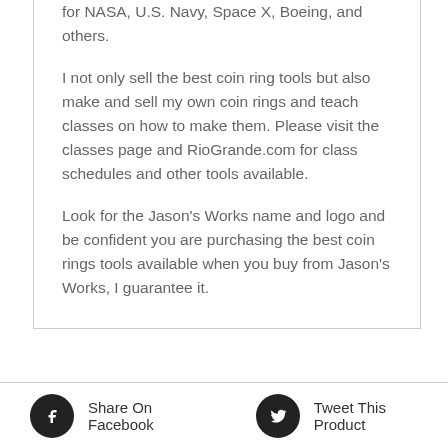for NASA, U.S. Navy, Space X, Boeing, and others.
I not only sell the best coin ring tools but also make and sell my own coin rings and teach classes on how to make them. Please visit the classes page and RioGrande.com for class schedules and other tools available.
Look for the Jason's Works name and logo and be confident you are purchasing the best coin rings tools available when you buy from Jason's Works, I guarantee it.
Share On Facebook   Tweet This Product